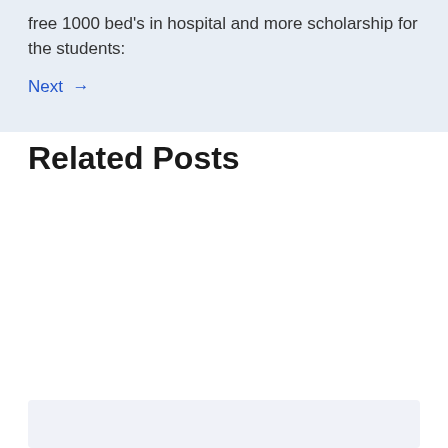free 1000 bed's in hospital and more scholarship for the students:
Next →
Related Posts